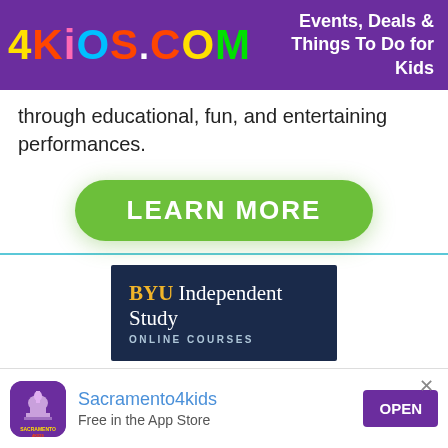4KiOS.COM - Events, Deals & Things To Do for Kids
through educational, fun, and entertaining performances.
[Figure (other): Green rounded button with text LEARN MORE]
[Figure (other): BYU Independent Study - Online Courses advertisement banner on dark navy background]
[Figure (other): Sacramento4kids app icon - purple with capitol building and kids logo]
Sacramento4kids
Free in the App Store